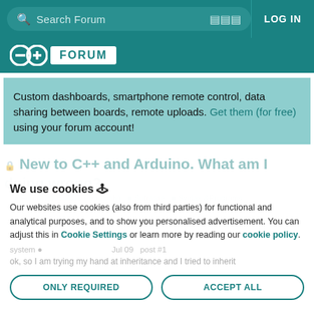Search Forum  LOG IN
[Figure (logo): Arduino logo with infinity symbol and FORUM badge on teal background]
Custom dashboards, smartphone remote control, data sharing between boards, remote uploads. Get them (for free) using your forum account!
New to C++ and Arduino. What am I doing wrong?
We use cookies
Our websites use cookies (also from third parties) for functional and analytical purposes, and to show you personalised advertisement. You can adjust this in Cookie Settings or learn more by reading our cookie policy.
ONLY REQUIRED   ACCEPT ALL